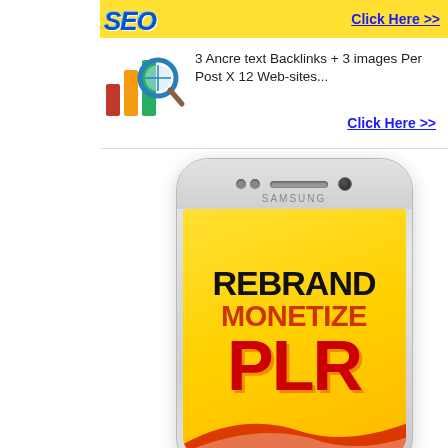[Figure (illustration): Yellow SEO banner ad with blue SEO logo text and 'Click Here >>' link]
[Figure (illustration): Bar chart with magnifying glass icon (SEO related)]
3 Ancre text Backlinks + 3 images Per Post X 12 Web-sites...
Click Here >>
[Figure (photo): Samsung smartphone displaying a screen with 'REBRAND MONETIZE PLR' text on yellow background with decorative swoosh]